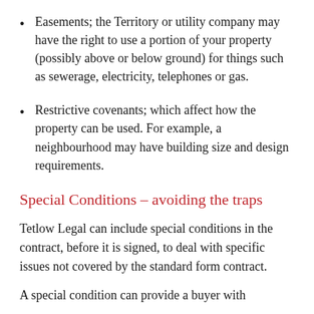Easements; the Territory or utility company may have the right to use a portion of your property (possibly above or below ground) for things such as sewerage, electricity, telephones or gas.
Restrictive covenants; which affect how the property can be used. For example, a neighbourhood may have building size and design requirements.
Special Conditions – avoiding the traps
Tetlow Legal can include special conditions in the contract, before it is signed, to deal with specific issues not covered by the standard form contract.
A special condition can provide a buyer with